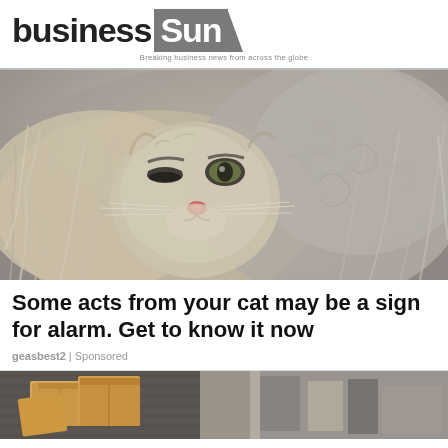business Sun — Breaking business news from across the globe
[Figure (photo): Close-up photo of a large fluffy grey/white long-haired cat with an intense, slightly grumpy expression, looking directly at the camera]
Some acts from your cat may be a sign for alarm. Get to know it now
geasbest2 | Sponsored
[Figure (photo): Partial photo of boxes and household items, visible at the bottom of the page]